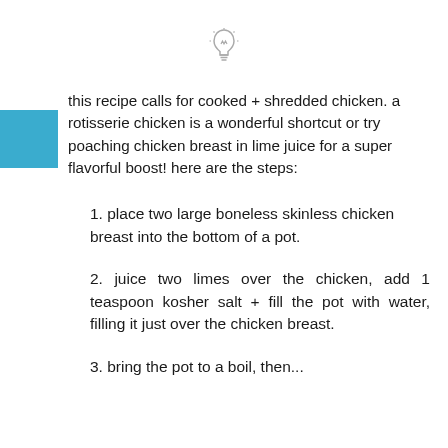[Figure (illustration): Light bulb icon, outline style, gray color]
this recipe calls for cooked + shredded chicken. a rotisserie chicken is a wonderful shortcut or try poaching chicken breast in lime juice for a super flavorful boost! here are the steps:
1. place two large boneless skinless chicken breast into the bottom of a pot.
2. juice two limes over the chicken, add 1 teaspoon kosher salt + fill the pot with water, filling it just over the chicken breast.
3. bring the pot to a boil, then...